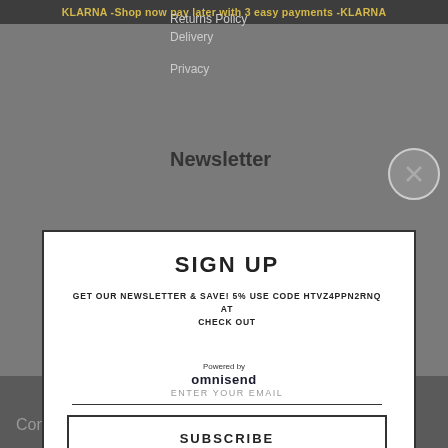KLARNA -Shop now pay later with 3 easy payments -KLARNA
Returns Policy
Delivery
Privacy
Newsletter
SIGN UP
GET OUR NEWSLETTER & SAVE! 5% USE CODE HTVZ4PPN2RNQ AT CHECK OUT
ENTER YOUR EMAIL
SUBSCRIBE
Powered by omnisend
Contact